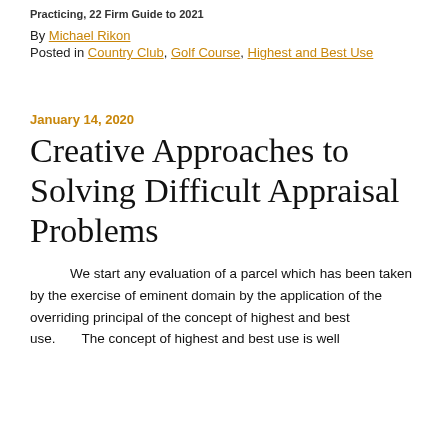Practicing, 22 Firm Guide to 2021
By Michael Rikon
Posted in Country Club, Golf Course, Highest and Best Use
January 14, 2020
Creative Approaches to Solving Difficult Appraisal Problems
We start any evaluation of a parcel which has been taken by the exercise of eminent domain by the application of the overriding principal of the concept of highest and best use.      The concept of highest and best use is well known to practitioners. For all of the legal and